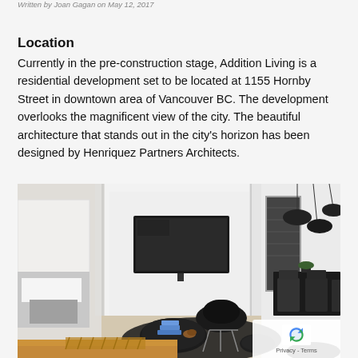Written by Joan Gagan on May 12, 2017
Location
Currently in the pre-construction stage, Addition Living is a residential development set to be located at 1155 Hornby Street in downtown area of Vancouver BC. The development overlooks the magnificent view of the city. The beautiful architecture that stands out in the city's horizon has been designed by Henriquez Partners Architects.
[Figure (photo): Interior photo of a modern residential unit showing a living area with black Eames chair, dark round coffee table with magazines, a wall-mounted flat screen TV, a bedroom visible through a doorway, and a dining area with black chairs and pendant lights in the background.]